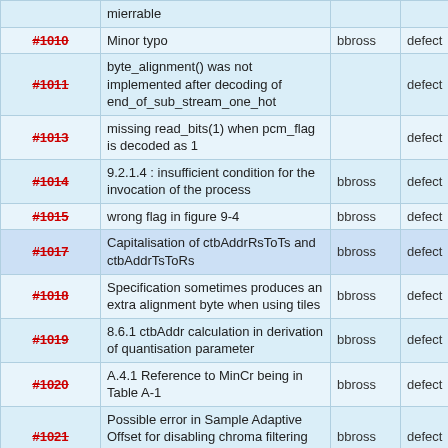| ID | Description | Assignee | Type |
| --- | --- | --- | --- |
| #1010 | Minor typo | bbross | defect |
| #1011 | byte_alignment() was not implemented after decoding of end_of_sub_stream_one_hot |  | defect |
| #1013 | missing read_bits(1) when pcm_flag is decoded as 1 |  | defect |
| #1014 | 9.2.1.4 : insufficient condition for the invocation of the process | bbross | defect |
| #1015 | wrong flag in figure 9-4 | bbross | defect |
| #1017 | Capitalisation of ctbAddrRsToTs and ctbAddrTsToRs | bbross | defect |
| #1018 | Specification sometimes produces an extra alignment byte when using tiles | bbross | defect |
| #1019 | 8.6.1 ctbAddr calculation in derivation of quantisation parameter | bbross | defect |
| #1020 | A.4.1 Reference to MinCr being in Table A-1 | bbross | defect |
| #1021 | Possible error in Sample Adaptive Offset for disabling chroma filtering between slices | bbross | defect |
| #1022 | "Scaling and transformation process" is sometimes passed chroma locations | bbross | defect |
| #1023 | Cabac process 9.2 uses end_of_slice_segment_flag before it has been read | bbross | defect |
| #1024 | QP prediction may be not aligned with the ... |  | defect |